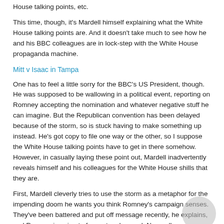House talking points, etc.
This time, though, it's Mardell himself explaining what the White House talking points are. And it doesn't take much to see how he and his BBC colleagues are in lock-step with the White House propaganda machine.
Mitt v Isaac in Tampa
One has to feel a little sorry for the BBC's US President, though. He was supposed to be wallowing in a political event, reporting on Romney accepting the nomination and whatever negative stuff he can imagine. But the Republican convention has been delayed because of the storm, so is stuck having to make something up instead. He's got copy to file one way or the other, so I suppose the White House talking points have to get in there somehow. However, in casually laying these point out, Mardell inadvertently reveals himself and his colleagues for the White House shills that they are.
First, Mardell cleverly tries to use the storm as a metaphor for the impending doom he wants you think Romney's campaign senses. They've been battered and put off message recently, he explains, and Romney is going to face a tough crowd. No, really.